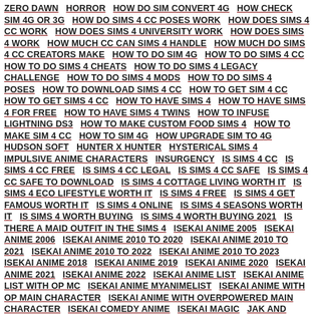ZERO DAWN   HORROR   HOW DO SIM CONVERT 4G   HOW CHECK SIM 4G OR 3G   HOW DO SIMS 4 CC POSES WORK   HOW DOES SIMS 4 CC WORK   HOW DOES SIMS 4 UNIVERSITY WORK   HOW DOES SIMS 4 WORK   HOW MUCH CC CAN SIMS 4 HANDLE   HOW MUCH DO SIMS 4 CC CREATORS MAKE   HOW TO DO SIM 4G   HOW TO DO SIMS 4 CC   HOW TO DO SIMS 4 CHEATS   HOW TO DO SIMS 4 LEGACY CHALLENGE   HOW TO DO SIMS 4 MODS   HOW TO DO SIMS 4 POSES   HOW TO DOWNLOAD SIMS 4 CC   HOW TO GET SIM 4 CC   HOW TO GET SIMS 4 CC   HOW TO HAVE SIMS 4   HOW TO HAVE SIMS 4 FOR FREE   HOW TO HAVE SIMS 4 TWINS   HOW TO INFUSE LIGHTNING DS3   HOW TO MAKE CUSTOM FOOD SIMS 4   HOW TO MAKE SIM 4 CC   HOW TO SIM 4G   HOW UPGRADE SIM TO 4G   HUDSON SOFT   HUNTER X HUNTER   HYSTERICAL SIMS 4   IMPULSIVE ANIME CHARACTERS   INSURGENCY   IS SIMS 4 CC   IS SIMS 4 CC FREE   IS SIMS 4 CC LEGAL   IS SIMS 4 CC SAFE   IS SIMS 4 CC SAFE TO DOWNLOAD   IS SIMS 4 COTTAGE LIVING WORTH IT   IS SIMS 4 ECO LIFESTYLE WORTH IT   IS SIMS 4 FREE   IS SIMS 4 GET FAMOUS WORTH IT   IS SIMS 4 ONLINE   IS SIMS 4 SEASONS WORTH IT   IS SIMS 4 WORTH BUYING   IS SIMS 4 WORTH BUYING 2021   IS THERE A MAID OUTFIT IN THE SIMS 4   ISEKAI ANIME 2005   ISEKAI ANIME 2006   ISEKAI ANIME 2010 TO 2020   ISEKAI ANIME 2010 TO 2021   ISEKAI ANIME 2010 TO 2022   ISEKAI ANIME 2010 TO 2023   ISEKAI ANIME 2018   ISEKAI ANIME 2019   ISEKAI ANIME 2020   ISEKAI ANIME 2021   ISEKAI ANIME 2022   ISEKAI ANIME LIST   ISEKAI ANIME LIST WITH OP MC   ISEKAI ANIME MYANIMELIST   ISEKAI ANIME WITH OP MAIN CHARACTER   ISEKAI ANIME WITH OVERPOWERED MAIN CHARACTER   ISEKAI COMEDY ANIME   ISEKAI MAGIC   JAK AND DAXTER   JAMES BOND   JAPANESE CULTURE   JAPANESE SIMS 4   JARDANE SIMS 4   JIMMY NEUTRON   JOHNNY BRAVO   JOJO'S BIZARRE ADVENTURE   JUMP FORCE   JURASSIC PARK   JUST CAUSE   KENSHI   KERBAL SPACE PROGRAM   KH2.5   KILLING FLOOR   KIMONO THE SIMS 4   KING OF FIGHTERS   KINGDOM COME: DELIVERANCE   KINGDOM HEARTS   KIRBY   KOREAN SKIN TONE SIMS 4   LAUGHING BY THE FIRESIDE CHAIR   LEAGUE OF LEGENDS   LEFT 4 DEAD   LEGEND OF GRIMROCK   LEGEND OF ZELDA   LEGO